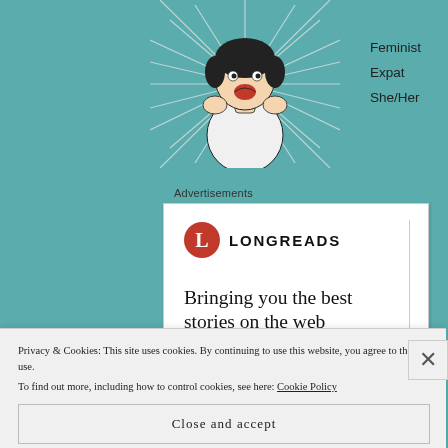[Figure (illustration): Black and white vintage pop-art style illustration of a woman with an open mouth expression, on a teal background]
Feminist
Expat
She/Her
Advertisements
[Figure (logo): Longreads advertisement card. Red circle with white L logo, text LONGREADS. Headline: Bringing you the best stories on the web since 2009]
Privacy & Cookies: This site uses cookies. By continuing to use this website, you agree to their use.
To find out more, including how to control cookies, see here: Cookie Policy
Close and accept